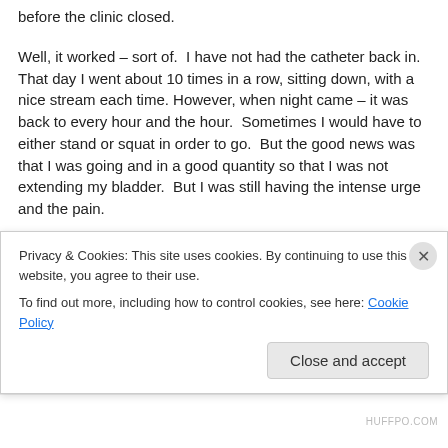before the clinic closed.
Well, it worked – sort of.  I have not had the catheter back in.  That day I went about 10 times in a row, sitting down, with a nice stream each time. However, when night came – it was back to every hour and the hour.  Sometimes I would have to either stand or squat in order to go.  But the good news was that I was going and in a good quantity so that I was not extending my bladder.  But I was still having the intense urge and the pain.
This would only get worse in the next few days until on
Privacy & Cookies: This site uses cookies. By continuing to use this website, you agree to their use.
To find out more, including how to control cookies, see here: Cookie Policy
Close and accept